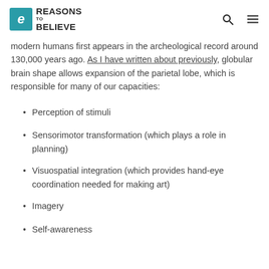Reasons to Believe
modern humans first appears in the archeological record around 130,000 years ago. As I have written about previously, globular brain shape allows expansion of the parietal lobe, which is responsible for many of our capacities:
Perception of stimuli
Sensorimotor transformation (which plays a role in planning)
Visuospatial integration (which provides hand-eye coordination needed for making art)
Imagery
Self-awareness